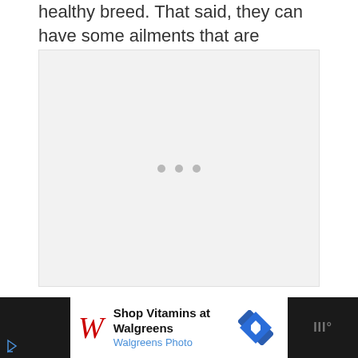healthy breed. That said, they can have some ailments that are genetic, but rare. These are:
[Figure (other): Large light gray placeholder box with three small gray loading dots centered, indicating an image or embedded content that has not yet loaded.]
[Figure (other): Advertisement bar at bottom: Walgreens ad reading 'Shop Vitamins at Walgreens / Walgreens Photo' with red Walgreens script logo, blue navigation arrow icon, and dark background strips on left and right sides.]